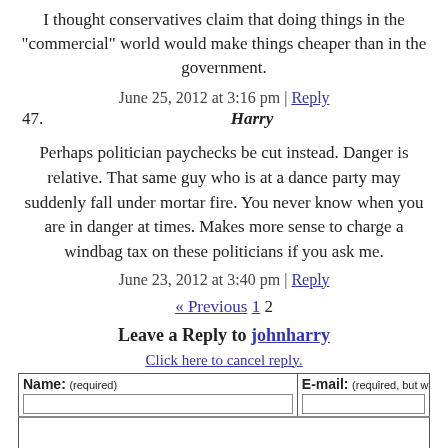I thought conservatives claim that doing things in the "commercial" world would make things cheaper than in the government.
June 25, 2012 at 3:16 pm | Reply
47. Harry
Perhaps politician paychecks be cut instead. Danger is relative. That same guy who is at a dance party may suddenly fall under mortar fire. You never know when you are in danger at times. Makes more sense to charge a windbag tax on these politicians if you ask me.
June 23, 2012 at 3:40 pm | Reply
« Previous 1 2
Leave a Reply to johnharry
Click here to cancel reply.
| Name: (required) | E-mail: (required, but will not be published) |
| --- | --- |
|  |  |